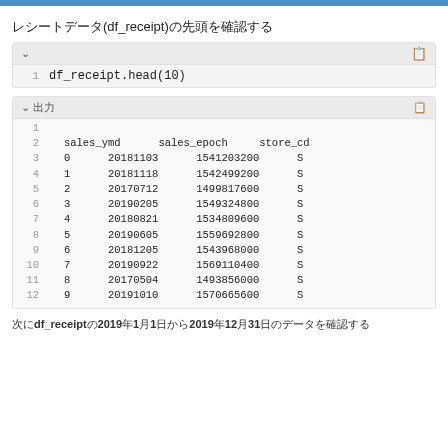レシートデータ(df_receipt)の先頭を確認する
df_receipt.head(10)
|  | sales_ymd | sales_epoch | store_cd |
| --- | --- | --- | --- |
| 0 | 20181103 | 1541203200 | S |
| 1 | 20181118 | 1542499200 | S |
| 2 | 20170712 | 1499817600 | S |
| 3 | 20190205 | 1549324800 | S |
| 4 | 20180821 | 1534809600 | S |
| 5 | 20190605 | 1559692800 | S |
| 6 | 20181205 | 1543968000 | S |
| 7 | 20190922 | 1569110400 | S |
| 8 | 20170504 | 1493856000 | S |
| 9 | 20191010 | 1570665600 | S |
次にdf_receiptの2019年1月1日から2019年12月31日のデータを確認する